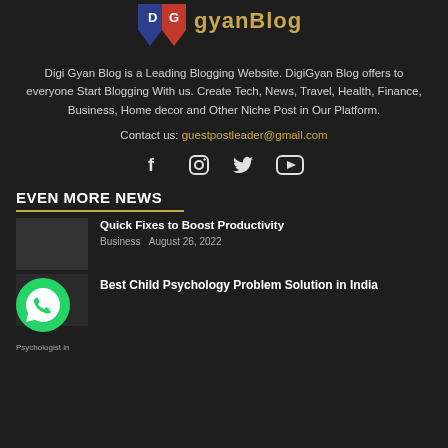[Figure (logo): Digi Gyan Blog logo with shield icon and text]
Digi Gyan Blog is a Leading Blogging Website. DigiGyan Blog offers to everyone Start Blogging With us. Create Tech, News, Travel, Health, Finance, Business, Home decor and Other Niche Post in Our Platform.
Contact us: guestpostleader@gmail.com
[Figure (infographic): Social media icons: Facebook, Instagram, Twitter, YouTube]
EVEN MORE NEWS
Quick Fixes to Boost Productivity
Business   August 26, 2022
[Figure (photo): WhatsApp chat bubble icon (green circle with phone icon)]
Best Child Psychology Problem Solution in India
Psychologist in